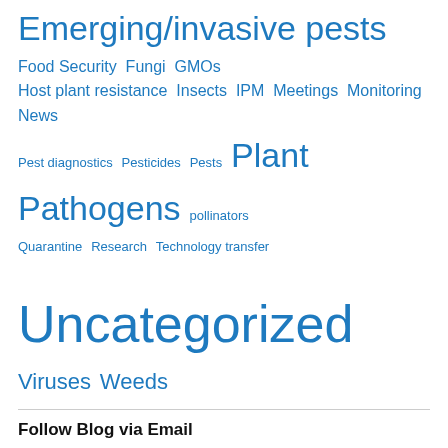Emerging/invasive pests Food Security Fungi GMOs Host plant resistance Insects IPM Meetings Monitoring News Pest diagnostics Pesticides Pests Plant Pathogens pollinators Quarantine Research Technology transfer Uncategorized Viruses Weeds
Follow Blog via Email
Enter your email address to follow this blog and receive notifications of new posts by email.
Enter your email address
Follow
Join 328 other followers